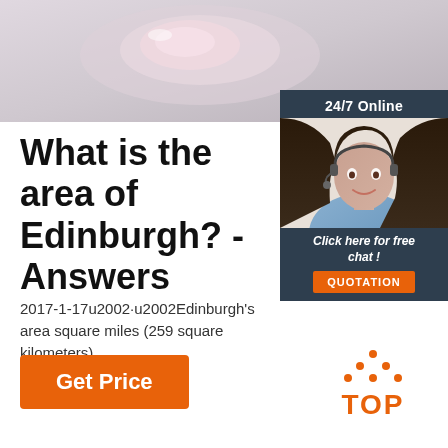[Figure (photo): Photo banner showing a decorative pink/rose gold brooch or ornament on a light surface]
[Figure (photo): Advertisement box: 24/7 Online banner with woman wearing headset smiling, 'Click here for free chat!' text and orange QUOTATION button]
What is the area of Edinburgh? - Answers
2017-1-17u2002·u2002Edinburgh's area square miles (259 square kilometers).
Get Price
[Figure (logo): Orange TOP logo with dots arranged in triangle above the word TOP]